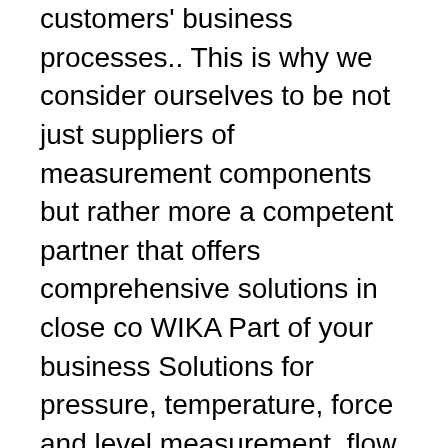customers' business processes.. This is why we consider ourselves to be not just suppliers of measurement components but rather more a competent partner that offers comprehensive solutions in close co WIKA Part of your business Solutions for pressure, temperature, force and level measurement, flow measurement, calibration and SF 6 gas solutions from WIKA are an integral component of our customers' business processes.. This is why we consider ourselves to be not just suppliers of measurement components but rather more a competent partner that offers comprehensive solutions in close co History. In October 2015, Sony Semiconductor Solutions was established as a wholly owned group company to reinforce the CMOS image sensor business and integrate the semiconductor-related business